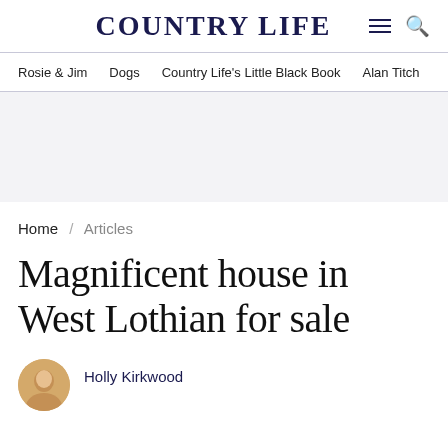COUNTRY LIFE
Rosie & Jim  Dogs  Country Life's Little Black Book  Alan Titch
[Figure (other): Gray advertisement banner placeholder]
Home / Articles
Magnificent house in West Lothian for sale
Holly Kirkwood